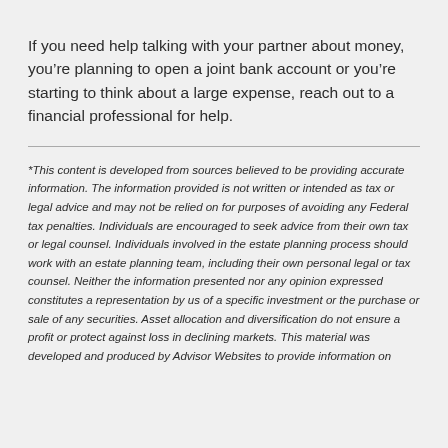If you need help talking with your partner about money, you're planning to open a joint bank account or you're starting to think about a large expense, reach out to a financial professional for help.
*This content is developed from sources believed to be providing accurate information. The information provided is not written or intended as tax or legal advice and may not be relied on for purposes of avoiding any Federal tax penalties. Individuals are encouraged to seek advice from their own tax or legal counsel. Individuals involved in the estate planning process should work with an estate planning team, including their own personal legal or tax counsel. Neither the information presented nor any opinion expressed constitutes a representation by us of a specific investment or the purchase or sale of any securities. Asset allocation and diversification do not ensure a profit or protect against loss in declining markets. This material was developed and produced by Advisor Websites to provide information on